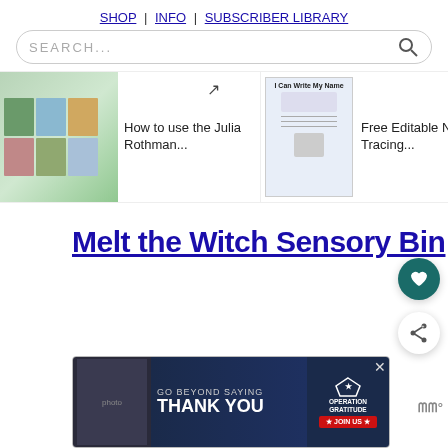SHOP | INFO | SUBSCRIBER LIBRARY
SEARCH...
[Figure (screenshot): Carousel of featured article thumbnails: 'How to use the Julia Rothman...', 'Free Editable Name Tracing...', 'Free [Counting] Bears...']
Melt the Witch Sensory Bin
[Figure (infographic): Heart/save button (teal circle with white heart icon) and share button (white circle with share icon)]
[Figure (infographic): Advertisement banner: GO BEYOND SAYING THANK YOU - OPERATION GRATITUDE - JOIN US, with close button and logo]